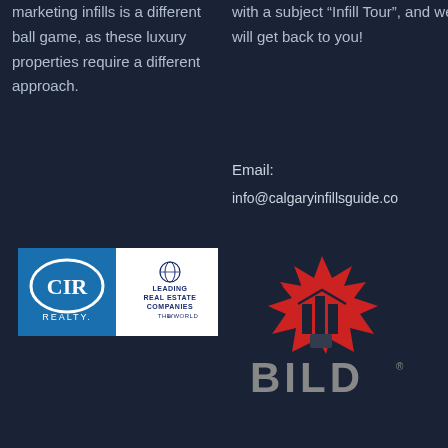marketing infills is a different ball game, as these luxury properties require a different approach.
with a subject “Infill Tour”, and we will get back to you!
Email:
info@calgaryinfillsguide.com
[Figure (logo): CIR Realty logo alongside Leading Real Estate Companies of the World logo on white background]
[Figure (logo): BILD association logo — red maple leaf with building/infill house icon inside, with BILD text below in grey]